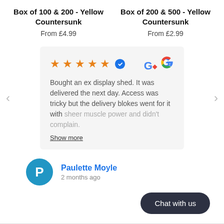Box of 100 & 200 - Yellow Countersunk
From £4.99
Box of 200 & 500 - Yellow Countersunk
From £2.99
Bought an ex display shed. It was delivered the next day. Access was tricky but the delivery blokes went for it with sheer muscle power and didn't complain.
Show more
Paulette Moyle
2 months ago
Chat with us